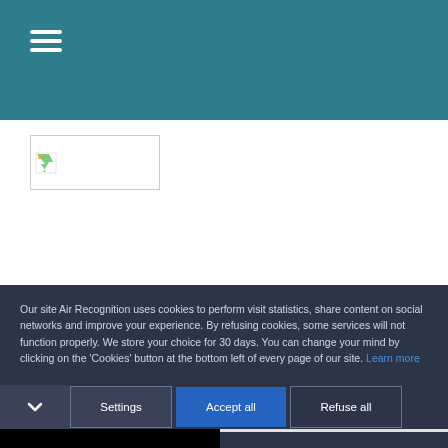[Figure (screenshot): Teal navigation bar with hamburger menu icon (three horizontal white lines) on the left side]
[Figure (logo): Website logo placeholder image in the white content area below the navigation bar]
Our site Air Recognition uses cookies to perform visit statistics, share content on social networks and improve your experience. By refusing cookies, some services will not function properly. We store your choice for 30 days. You can change your mind by clicking on the 'Cookies' button at the bottom left of every page of our site. Learn more
Settings  Accept all  Refuse all